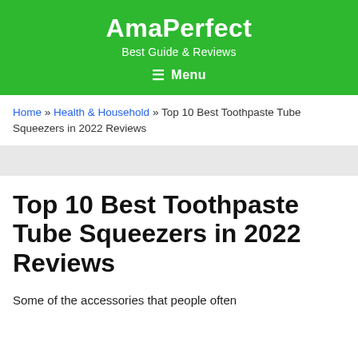AmaPerfect
Best Guide & Reviews
≡ Menu
Home » Health & Household » Top 10 Best Toothpaste Tube Squeezers in 2022 Reviews
Top 10 Best Toothpaste Tube Squeezers in 2022 Reviews
Some of the accessories that people often